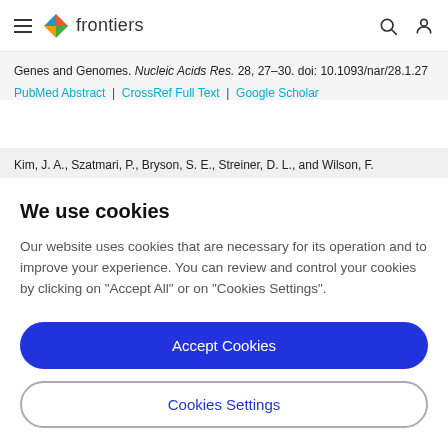frontiers
Genes and Genomes. Nucleic Acids Res. 28, 27–30. doi: 10.1093/nar/28.1.27
PubMed Abstract | CrossRef Full Text | Google Scholar
Kim, J. A., Szatmari, P., Bryson, S. E., Streiner, D. L., and Wilson, F.
We use cookies
Our website uses cookies that are necessary for its operation and to improve your experience. You can review and control your cookies by clicking on "Accept All" or on "Cookies Settings".
Accept Cookies
Cookies Settings